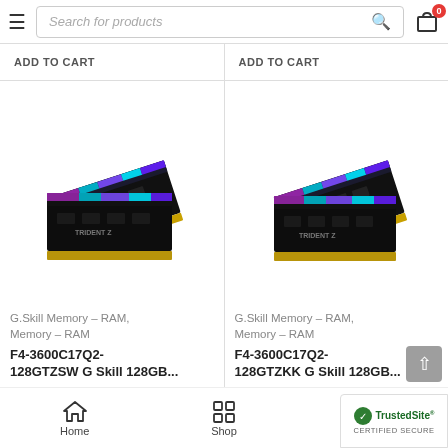Search for products
ADD TO CART
ADD TO CART
[Figure (photo): G.Skill Trident Z RGB RAM modules (black with RGB lighting), two sticks shown at angle]
G.Skill Memory – RAM, Memory – RAM
F4-3600C17Q2-128GTZSW G Skill 128GB...
[Figure (photo): G.Skill Trident Z RGB RAM modules (black with RGB lighting), two sticks shown at angle]
G.Skill Memory – RAM, Memory – RAM
F4-3600C17Q2-128GTZKK G Skill 128GB...
Home  Shop